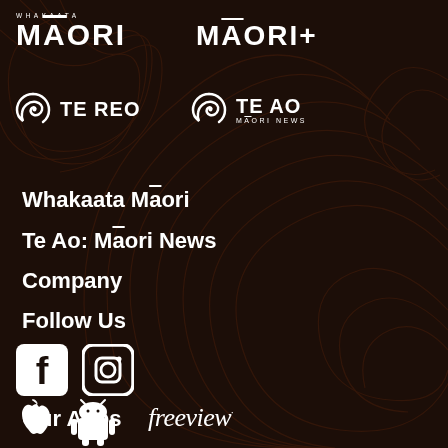[Figure (logo): Whakaata Māori logo - text logo with small 'WHAKAATA' above large 'MĀORI' text in white on dark background]
[Figure (logo): Māori+ logo - large bold 'MĀORI+' text in white]
[Figure (logo): Te Reo channel logo with koru spiral icon and 'TE REO' text]
[Figure (logo): Te Ao Māori News logo with koru spiral icon and 'TE AO MĀORI NEWS' text]
Whakaata Māori
Te Ao: Māori News
Company
Follow Us
[Figure (logo): Facebook logo icon (white square with F)]
[Figure (logo): Instagram logo icon (white circle with camera outline)]
Our Apps
[Figure (logo): Apple App Store logo (white apple icon)]
[Figure (logo): Android/Google Play logo (white android robot icon)]
[Figure (logo): Freeview logo in white italic text]